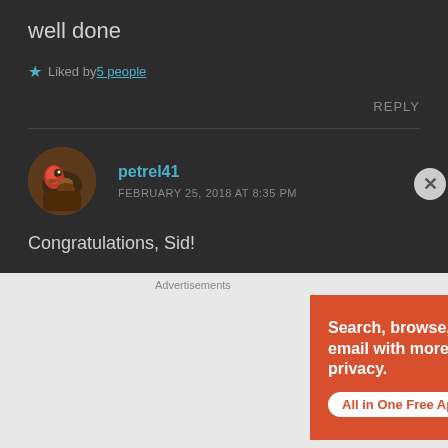well done
★ Liked by 5 people
REPLY
[Figure (photo): Circular avatar photo of a red bird (parrot or similar) perched on a surface]
petrel41
FEBRUARY 25, 2018 AT 8:35 PM
Congratulations, Sid!
Advertisements
[Figure (screenshot): DuckDuckGo advertisement banner with orange background showing 'Search, browse, and email with more privacy. All in One Free App' text and a smartphone mockup with DuckDuckGo logo]